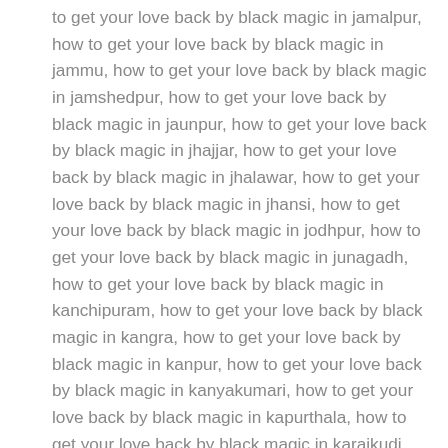to get your love back by black magic in jamalpur, how to get your love back by black magic in jammu, how to get your love back by black magic in jamshedpur, how to get your love back by black magic in jaunpur, how to get your love back by black magic in jhajjar, how to get your love back by black magic in jhalawar, how to get your love back by black magic in jhansi, how to get your love back by black magic in jodhpur, how to get your love back by black magic in junagadh, how to get your love back by black magic in kanchipuram, how to get your love back by black magic in kangra, how to get your love back by black magic in kanpur, how to get your love back by black magic in kanyakumari, how to get your love back by black magic in kapurthala, how to get your love back by black magic in karaikudi, how to get your love back by black magic in karnal, how to get your love back by black magic in kasauli, how to get your love back by black magic in katihar, how to get your love back by black magic in katni, how to get your love back by black magic in khajuraho, how to get your love back by black magic in khandala, how to get your love back by black magic in khandwa, how to get your love back by